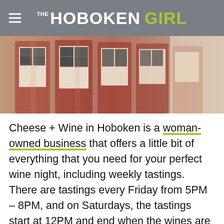THE HOBOKEN GIRL
[Figure (photo): Photo of wine bottles with photo booth style black and white portrait labels, containing rosé wine]
Cheese + Wine in Hoboken is a woman-owned business that offers a little bit of everything that you need for your perfect wine night, including weekly tastings. There are tastings every Friday from 5PM – 8PM, and on Saturdays, the tastings start at 12PM and end when the wines are done. It also has at least one themed wine tasting for the week. For example, themes can range from Spanish wine to French wine to rosé, and the